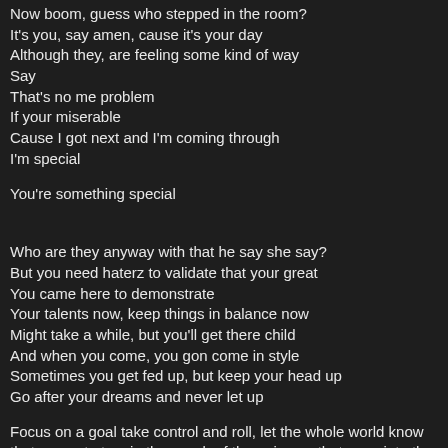Now boom, guess who stepped in the room?
It's you, say amen, cause it's your day
Although they, are feeling some kind of way
Say
That's no me problem
If your miserable
Cause I got next and I'm coming through
I'm special
You're something special
Who are they anyway with that he say she say?
But you need haterz to validate that your great
You came here to demonstrate
Your talents now, keep things in balance now
Might take a while, but you'll get there child
And when you come, you gon come in style
Sometimes you get fed up, but keep your head up
Go after your dreams and never let up
Focus on a goal take control and roll, let the whole world know that you got atom in the womb of the universe that grew into the sun, your number 1
Be determined and rise like helium